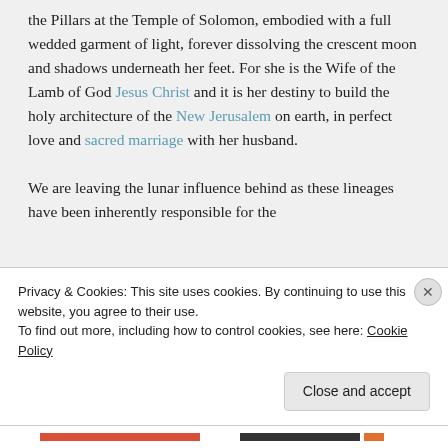the Pillars at the Temple of Solomon, embodied with a full wedded garment of light, forever dissolving the crescent moon and shadows underneath her feet. For she is the Wife of the Lamb of God Jesus Christ and it is her destiny to build the holy architecture of the New Jerusalem on earth, in perfect love and sacred marriage with her husband.
We are leaving the lunar influence behind as these lineages have been inherently responsible for the
Privacy & Cookies: This site uses cookies. By continuing to use this website, you agree to their use.
To find out more, including how to control cookies, see here: Cookie Policy